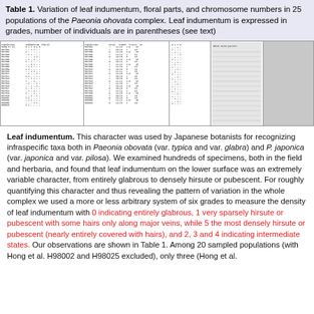Table 1. Variation of leaf indumentum, floral parts, and chromosome numbers in 25 populations of the Paeonia ohovata complex. Leaf indumentum is expressed in grades, number of individuals are in parentheses (see text)
[Figure (table-as-image): Scanned image of Table 1 showing variation data across 25 populations, split into multiple panels. The table contains rows of population data with leaf indumentum grades, floral parts, and chromosome numbers. One rightmost panel is blank/gray.]
Leaf indumentum. This character was used by Japanese botanists for recognizing infraspecific taxa both in Paeonia obovata (var. typica and var. glabra) and P. japonica (var. japonica and var. pilosa). We examined hundreds of specimens, both in the field and herbaria, and found that leaf indumentum on the lower surface was an extremely variable character, from entirely glabrous to densely hirsute or pubescent. For roughly quantifying this character and thus revealing the pattern of variation in the whole complex we used a more or less arbitrary system of six grades to measure the density of leaf indumentum with 0 indicating entirely glabrous, 1 very sparsely hirsute or pubescent with some hairs only along major veins, while 5 the most densely hirsute or pubescent (nearly entirely covered with hairs), and 2, 3 and 4 indicating intermediate states. Our observations are shown in Table 1. Among 20 sampled populations (with Hong et al. H98002 and H98025 excluded), only three (Hong et al.